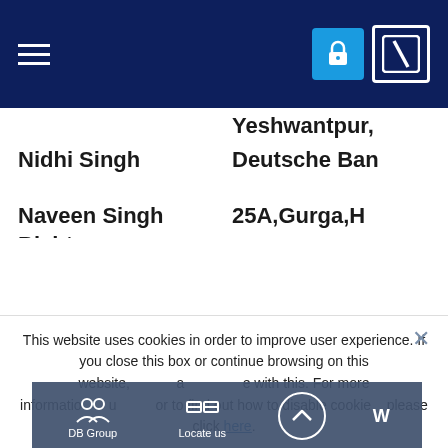Deutsche Bank navigation header with hamburger menu, lock icon, and DB logo
Nidhi Singh | Yeshwantpur, Deutsche Ban...
Naveen Singh Bisht | 25A,Gurga,H...
Roomana Raheel | 1/20 D D A Fl...
Pavan Kishore Buyyarapu | Cerner Health...
Luke Ernest I | Park Nagawa...
... | Mindtree Cor...
This website uses cookies in order to improve user experience. If you close this box or continue browsing on this website, we'll assume you agree with this. For more information about cookies or to find out how to disable cookies, please click here.